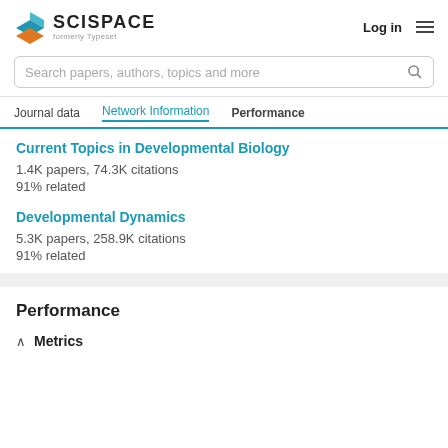[Figure (logo): SciSpace logo with colored geometric icon and text 'SCISPACE formerly Typeset']
Log in
Search papers, authors, topics and more
Journal data   Network Information   Performance
Current Topics in Developmental Biology
1.4K papers, 74.3K citations
91% related
Developmental Dynamics
5.3K papers, 258.9K citations
91% related
Performance
Metrics